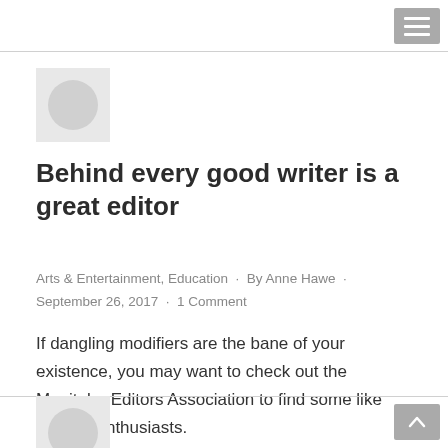[Figure (illustration): Circular avatar placeholder image on a light grey square background]
Behind every good writer is a great editor
Arts & Entertainment, Education · By Anne Hawe · September 26, 2017 · 1 Comment
If dangling modifiers are the bane of your existence, you may want to check out the Manitoba Editors Association to find some like minded enthusiasts.